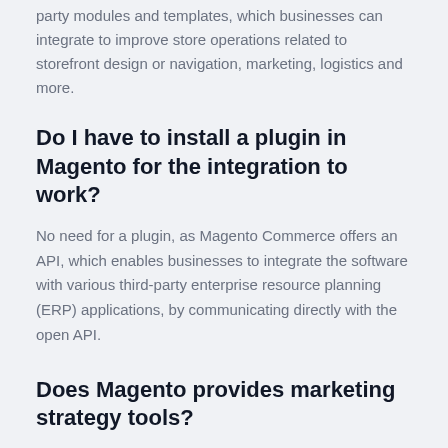party modules and templates, which businesses can integrate to improve store operations related to storefront design or navigation, marketing, logistics and more.
Do I have to install a plugin in Magento for the integration to work?
No need for a plugin, as Magento Commerce offers an API, which enables businesses to integrate the software with various third-party enterprise resource planning (ERP) applications, by communicating directly with the open API.
Does Magento provides marketing strategy tools?
Using Magento Commerce's business intelligence (BI) tools, sales professionals can consolidate data from